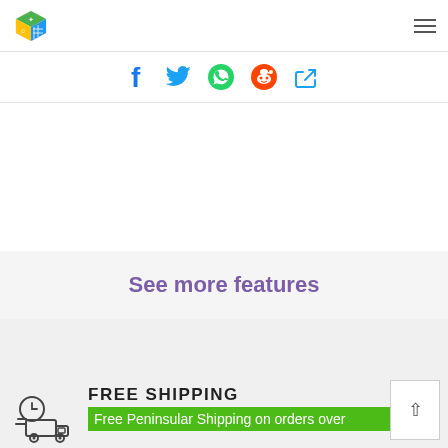[Figure (logo): Colorful cube/box logo icon in the top-left header]
[Figure (other): Hamburger menu icon (three horizontal lines) in top-right header]
[Figure (other): Social media share icons row: Facebook, Twitter, WhatsApp, Reddit, and a share icon, all in blue]
See more features
[Figure (illustration): Delivery truck with clock icon representing free shipping]
FREE SHIPPING
Free Peninsular Shipping on orders over 100€
[Figure (other): Back to top arrow button in bottom right corner]